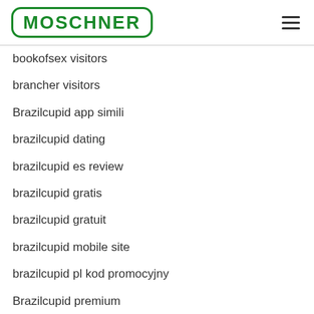MOSCHNER
bookofsex visitors
brancher visitors
Brazilcupid app simili
brazilcupid dating
brazilcupid es review
brazilcupid gratis
brazilcupid gratuit
brazilcupid mobile site
brazilcupid pl kod promocyjny
Brazilcupid premium
brazilcupid review
brazilcupid visitors